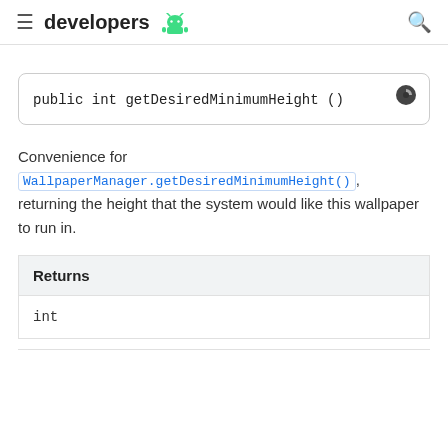developers
public int getDesiredMinimumHeight ()
Convenience for WallpaperManager.getDesiredMinimumHeight(), returning the height that the system would like this wallpaper to run in.
| Returns |
| --- |
| int |